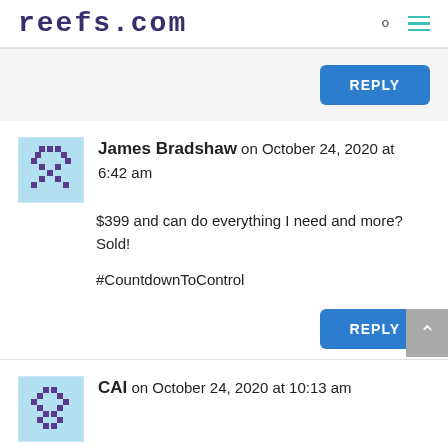reefs.com
REPLY
James Bradshaw on October 24, 2020 at 6:42 am
$399 and can do everything I need and more? Sold!
#CountdownToControl
REPLY
CAI on October 24, 2020 at 10:13 am
Really liking what I'm seeing so far with this controller! #CountdownToControl